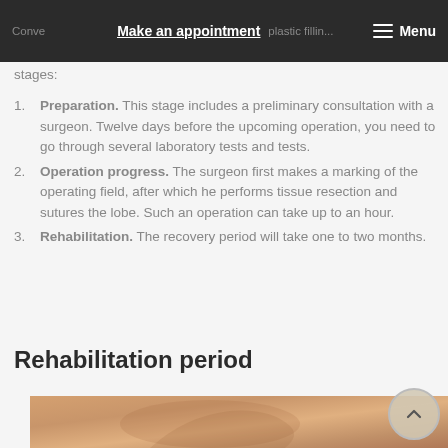Make an appointment | Menu
stages:
1. Preparation. This stage includes a preliminary consultation with a surgeon. Twelve days before the upcoming operation, you need to go through several laboratory tests and tests.
2. Operation progress. The surgeon first makes a marking of the operating field, after which he performs tissue resection and sutures the lobe. Such an operation can take up to an hour.
3. Rehabilitation. The recovery period will take one to two months.
Rehabilitation period
[Figure (photo): Close-up photo of a human ear from the side]